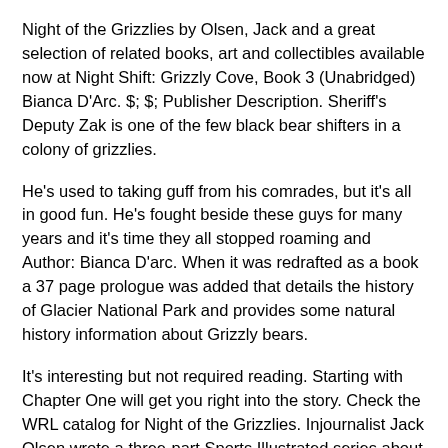Night of the Grizzlies by Olsen, Jack and a great selection of related books, art and collectibles available now at Night Shift: Grizzly Cove, Book 3 (Unabridged) Bianca D'Arc. $; $; Publisher Description. Sheriff's Deputy Zak is one of the few black bear shifters in a colony of grizzlies.
He's used to taking guff from his comrades, but it's all in good fun. He's fought beside these guys for many years and it's time they all stopped roaming and Author: Bianca D'arc. When it was redrafted as a book a 37 page prologue was added that details the history of Glacier National Park and provides some natural history information about Grizzly bears.
It's interesting but not required reading. Starting with Chapter One will get you right into the story. Check the WRL catalog for Night of the Grizzlies. Injournalist Jack Olsen wrote a three-part Sports Illustrated series about the attacks that was later turned into the book, “Night of the Grizzlies.” In it, he stated there was a one-in-a-million chance of two fatal bear attacks occurring so close to one another on the same night.